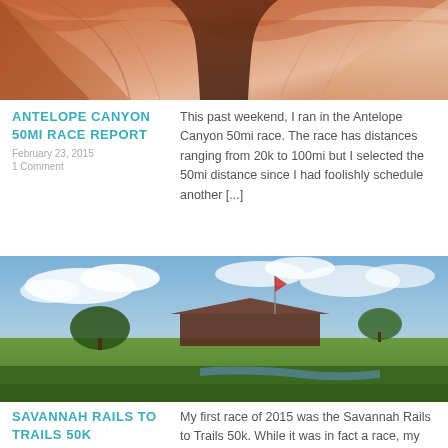[Figure (photo): Close-up of red/orange sandstone canyon walls with curved rock formations]
ANTELOPE CANYON 50MI RACE REPORT
February 23, 2015
1 Comment
This past weekend, I ran in the Antelope Canyon 50mi race. The race has distances ranging from 20k to 100mi but I selected the 50mi distance since I had foolishly schedule another [...]
[Figure (photo): Wide landscape photo of a rural field with a large barn building, trees, blue sky with clouds. Tag overlay reads: Race Report, Travel]
SAVANNAH RAILS TO TRAILS 50K
January 12, 2015
My first race of 2015 was the Savannah Rails to Trails 50k. While it was in fact a race, my main goal was to get a nice supported long run [...]